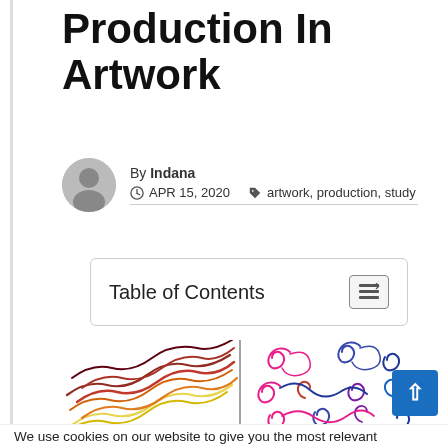Production In Artwork
By Indana
APR 15, 2020  artwork, production, study
Table of Contents
[Figure (illustration): Two-panel drawing: left panel shows wavy diagonal colored lines (yellow, orange, red, dark red) on white background; right panel shows colorful spiral/scroll doodles in pink, magenta, blue, and purple on white background.]
We use cookies on our website to give you the most relevant